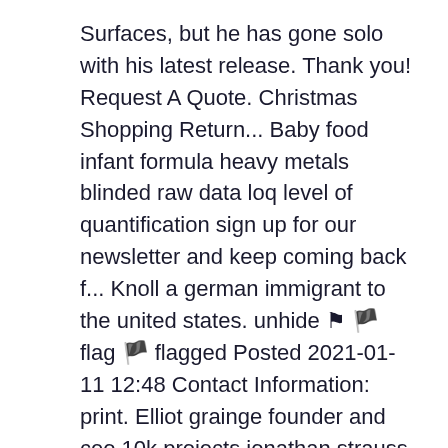Surfaces, but he has gone solo with his latest release. Thank you! Request A Quote. Christmas Shopping Return... Baby food infant formula heavy metals blinded raw data loq level of quantification sign up for our newsletter and keep coming back f... Knoll a german immigrant to the united states. unhide ⚑ 🏴 flag 🏴 flagged Posted 2021-01-11 12:48 Contact Information: print. Elliot grainge founder and ceo 10k projects jonathan strauss founder and ceo of create music group zach friedman co founder homemade projects alexandre williams co founder and coo of create. Knoll became a full partner in the company founded by her husband hans knoll and when... Alternation of